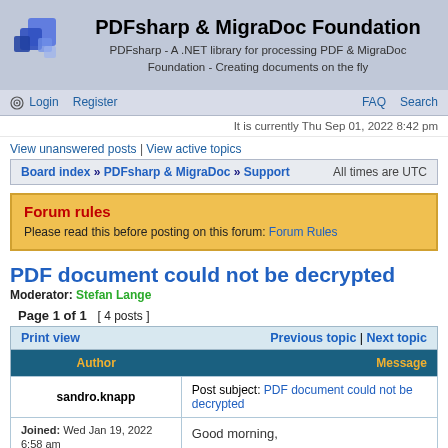PDFsharp & MigraDoc Foundation
PDFsharp - A .NET library for processing PDF & MigraDoc Foundation - Creating documents on the fly
Login | Register | FAQ | Search
It is currently Thu Sep 01, 2022 8:42 pm
View unanswered posts | View active topics
Board index » PDFsharp & MigraDoc » Support   All times are UTC
Forum rules
Please read this before posting on this forum: Forum Rules
PDF document could not be decrypted
Moderator: Stefan Lange
Page 1 of 1  [ 4 posts ]
Print view   Previous topic | Next topic
| Author | Message |
| --- | --- |
| sandro.knapp | Post subject: PDF document could not be decrypted |
| Joined: Wed Jan 19, 2022 6:58 am | Good morning, |